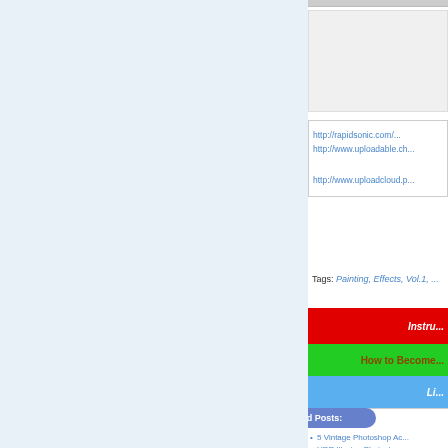http://rapidsonic.com...
http://www.uploadable.ch...
http://www.uploadcloud.p...
Tags: Painting, Effects, Vol.1, ...
Instru...
How to Become...
Li...
Related Posts:
5 Vintage Photoshop Ac...
HDR Illusion Photoshop...
Dry Watercolor Photosh...